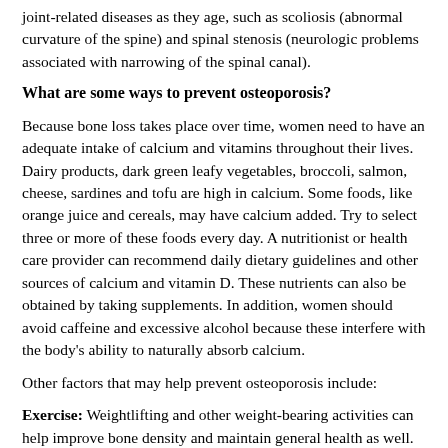joint-related diseases as they age, such as scoliosis (abnormal curvature of the spine) and spinal stenosis (neurologic problems associated with narrowing of the spinal canal).
What are some ways to prevent osteoporosis?
Because bone loss takes place over time, women need to have an adequate intake of calcium and vitamins throughout their lives. Dairy products, dark green leafy vegetables, broccoli, salmon, cheese, sardines and tofu are high in calcium. Some foods, like orange juice and cereals, may have calcium added. Try to select three or more of these foods every day. A nutritionist or health care provider can recommend daily dietary guidelines and other sources of calcium and vitamin D. These nutrients can also be obtained by taking supplements. In addition, women should avoid caffeine and excessive alcohol because these interfere with the body's ability to naturally absorb calcium.
Other factors that may help prevent osteoporosis include:
Exercise: Weightlifting and other weight-bearing activities can help improve bone density and maintain general health as well. Many exercises can be modified for women who have physical limitations or use wheelchairs. Regardless of which activities are performed, most women should begin exercising regularly early in life and continue as they get older. However, women who begin